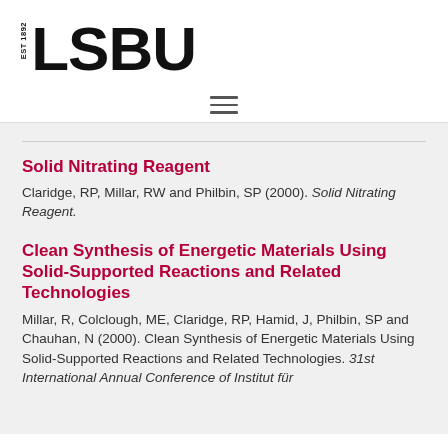[Figure (logo): LSBU logo with EST 1892 text and bold LSBU wordmark]
[Figure (other): Hamburger navigation menu icon with three horizontal lines]
Solid Nitrating Reagent
Claridge, RP, Millar, RW and Philbin, SP (2000). Solid Nitrating Reagent.
Clean Synthesis of Energetic Materials Using Solid-Supported Reactions and Related Technologies
Millar, R, Colclough, ME, Claridge, RP, Hamid, J, Philbin, SP and Chauhan, N (2000). Clean Synthesis of Energetic Materials Using Solid-Supported Reactions and Related Technologies. 31st International Annual Conference of Institut für